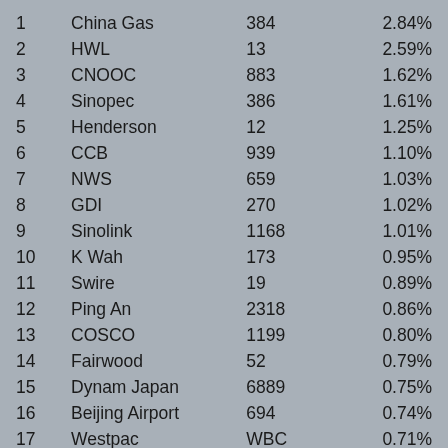| # | Name | Code | Weight |
| --- | --- | --- | --- |
| 1 | China Gas | 384 | 2.84% |
| 2 | HWL | 13 | 2.59% |
| 3 | CNOOC | 883 | 1.62% |
| 4 | Sinopec | 386 | 1.61% |
| 5 | Henderson | 12 | 1.25% |
| 6 | CCB | 939 | 1.10% |
| 7 | NWS | 659 | 1.03% |
| 8 | GDI | 270 | 1.02% |
| 9 | Sinolink | 1168 | 1.01% |
| 10 | K Wah | 173 | 0.95% |
| 11 | Swire | 19 | 0.89% |
| 12 | Ping An | 2318 | 0.86% |
| 13 | COSCO | 1199 | 0.80% |
| 14 | Fairwood | 52 | 0.79% |
| 15 | Dynam Japan | 6889 | 0.75% |
| 16 | Beijing Airport | 694 | 0.74% |
| 17 | Westpac | WBC | 0.71% |
| 18 | Hua Han | 587 | 0.67% |
| 19 | Hang Seng | 11 | 0.67% |
| 20 | CKI | 1038 | 0.66% |
|  |  | TOTAL | 22.57% |